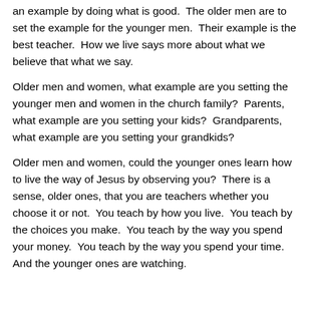an example by doing what is good.  The older men are to set the example for the younger men.  Their example is the best teacher.  How we live says more about what we believe that what we say.
Older men and women, what example are you setting the younger men and women in the church family?  Parents, what example are you setting your kids?  Grandparents, what example are you setting your grandkids?
Older men and women, could the younger ones learn how to live the way of Jesus by observing you?  There is a sense, older ones, that you are teachers whether you choose it or not.  You teach by how you live.  You teach by the choices you make.  You teach by the way you spend your money.  You teach by the way you spend your time.  And the younger ones are watching.